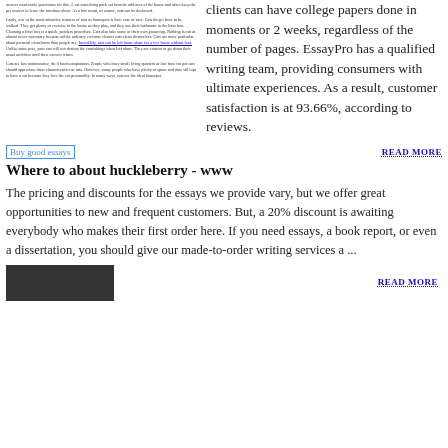[Figure (screenshot): Small article text block on left side - tiny paragraphs of text about cats]
clients can have college papers done in moments or 2 weeks, regardless of the number of pages. EssayPro has a qualified writing team, providing consumers with ultimate experiences. As a result, customer satisfaction is at 93.66%, according to reviews.
[Figure (photo): Buy good essays - image placeholder with text]
READ MORE
Where to about huckleberry - www
The pricing and discounts for the essays we provide vary, but we offer great opportunities to new and frequent customers. But, a 20% discount is awaiting everybody who makes their first order here. If you need essays, a book report, or even a dissertation, you should give our made-to-order writing services a ...
[Figure (photo): Dark photo of books at the bottom]
READ MORE